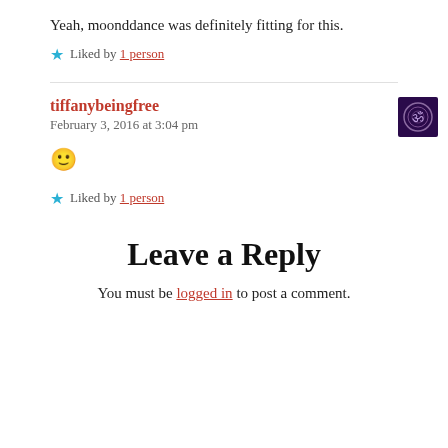Yeah, moonddance was definitely fitting for this.
★ Liked by 1 person
tiffanybeingfree
February 3, 2016 at 3:04 pm
🙂
★ Liked by 1 person
Leave a Reply
You must be logged in to post a comment.